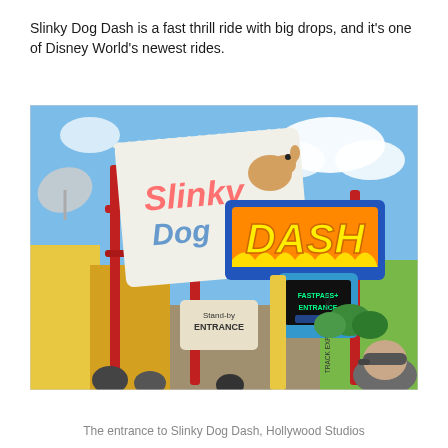Slinky Dog Dash is a fast thrill ride with big drops, and it's one of Disney World's newest rides.
[Figure (photo): Photo of the entrance to Slinky Dog Dash at Hollywood Studios, Disney World. Shows the colorful ride signage with 'Slinky Dog' written in blue letters on a large white ticket-shaped sign, and 'DASH' in yellow on an orange background. A FastPass+ Entrance sign and Stand-by Entrance sign are visible. Red metal structures, colorful decorations, and a blue sky with clouds are in the background. A person with a grey baseball cap is visible in the lower right.]
The entrance to Slinky Dog Dash, Hollywood Studios